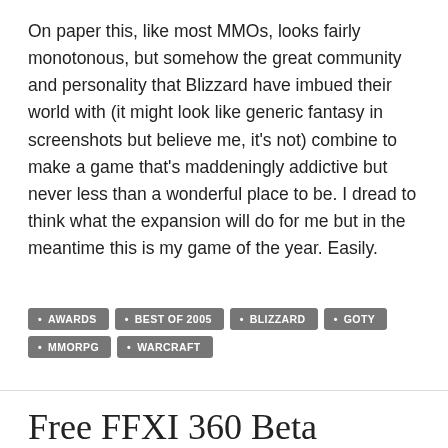On paper this, like most MMOs, looks fairly monotonous, but somehow the great community and personality that Blizzard have imbued their world with (it might look like generic fantasy in screenshots but believe me, it's not) combine to make a game that's maddeningly addictive but never less than a wonderful place to be. I dread to think what the expansion will do for me but in the meantime this is my game of the year. Easily.
AWARDS
BEST OF 2005
BLIZZARD
GOTY
MMORPG
WARCRAFT
Free FFXI 360 Beta